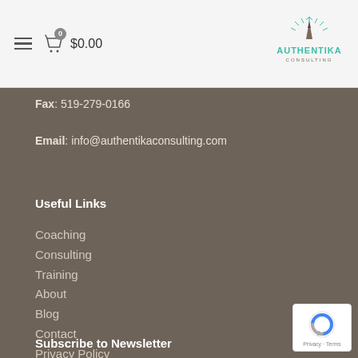≡  🛍 0  $0.00   AUTHENTIKA CONSULTING
Fax: 519-279-0166
Email: info@authentikaconsulting.com
Useful Links
Coaching
Consulting
Training
About
Blog
Contact
Privacy Policy
Disclaimer
Subscribe to Newsletter